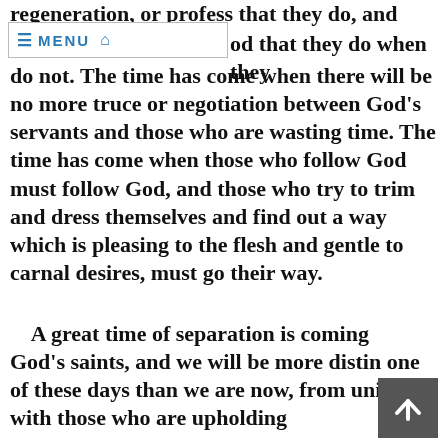regeneration, or profess that they do, and
[Figure (screenshot): Navigation menu bar with hamburger icon, MENU label, and home icon]
od that they do when they do not. The time has come when there will be no more truce or negotiation between God’s servants and those who are wasting time. The time has come when those who follow God must follow God, and those who try to trim and dress themselves and find out a way which is pleasing to the flesh and gentle to carnal desires, must go their way.
A great time of separation is coming to God’s saints, and we will be more distinct one of these days than we are now, from union with those who are upholding